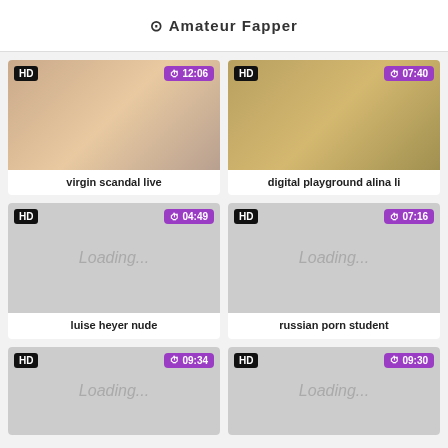Amateur Fapper
[Figure (photo): Video thumbnail with HD badge and 12:06 duration]
virgin scandal live
[Figure (photo): Video thumbnail with HD badge and 07:40 duration]
digital playground alina li
[Figure (photo): Loading placeholder with HD badge and 04:49 duration]
luise heyer nude
[Figure (photo): Loading placeholder with HD badge and 07:16 duration]
russian porn student
[Figure (photo): Loading placeholder with HD badge and 09:34 duration]
[Figure (photo): Loading placeholder with HD badge and 09:30 duration]